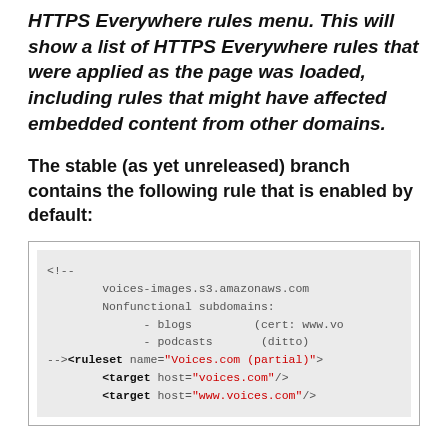HTTPS Everywhere rules menu. This will show a list of HTTPS Everywhere rules that were applied as the page was loaded, including rules that might have affected embedded content from other domains.
The stable (as yet unreleased) branch contains the following rule that is enabled by default:
[Figure (screenshot): Code block showing XML ruleset for Voices.com (partial) with target hosts voices.com and www.voices.com, and a comment about nonfunctional subdomains blogs and podcasts.]